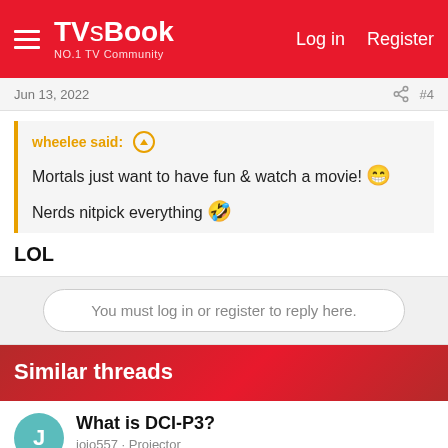TVsBook NO.1 TV Community  Log in  Register
Jun 13, 2022  #4
wheelee said: ↑
Mortals just want to have fun & watch a movie! 😁
Nerds nitpick everything 🤣
LOL
You must log in or register to reply here.
Similar threads
What is DCI-P3?
jojo557 · Projector
Replies: 4 · Oct 20, 2021